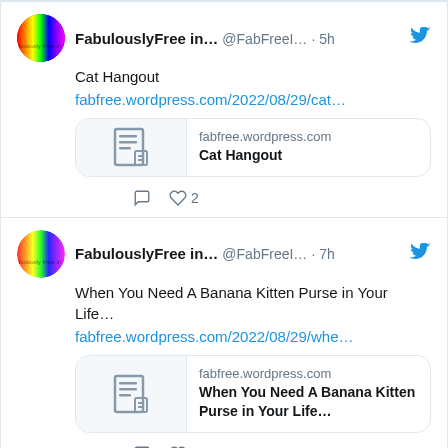[Figure (screenshot): Twitter/social media feed showing two tweets from FabulouslyFree in... (@FabFreeI...). First tweet posted 5h ago: 'Cat Hangout' with link fabfree.wordpress.com/2022/08/29/cat... and a link card showing fabfree.wordpress.com / Cat Hangout. Actions show 0 comments, 2 likes. Second tweet posted 7h ago: 'When You Need A Banana Kitten Purse in Your Life...' with link fabfree.wordpress.com/2022/08/29/whe... and a link card showing fabfree.wordpress.com / When You Need A Banana Kitten Purse in Your Life...]